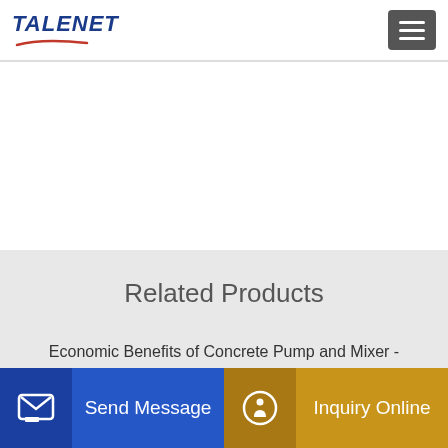TALENET
Related Products
Economic Benefits of Concrete Pump and Mixer -
New mobile portable concrete mixer price Concrete Spreader Pump
China Best Price Concrete Pump Truck of 24-58meters Photos concrete drum mixer Oman Jasmaschool
Send Message
Inquiry Online